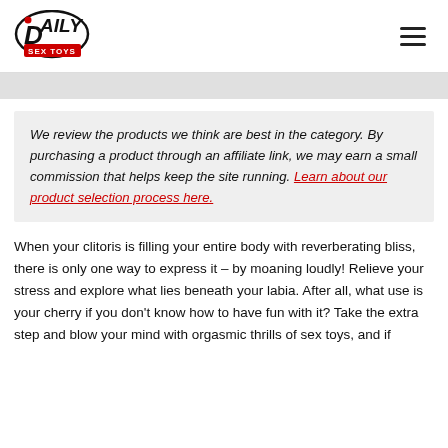Daily Sex Toys
We review the products we think are best in the category. By purchasing a product through an affiliate link, we may earn a small commission that helps keep the site running. Learn about our product selection process here.
When your clitoris is filling your entire body with reverberating bliss, there is only one way to express it – by moaning loudly! Relieve your stress and explore what lies beneath your labia. After all, what use is your cherry if you don't know how to have fun with it? Take the extra step and blow your mind with orgasmic thrills of sex toys, and if